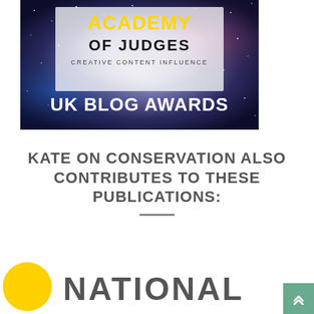[Figure (logo): Academy of Judges – Creative Content Influence, UK Blog Awards logo on a starry space nebula background. Yellow 'ACADEMY' text at top, 'OF JUDGES' in black, 'CREATIVE CONTENT INFLUENCE' subtitle, 'UK BLOG AWARDS' in large white letters at bottom.]
KATE ON CONSERVATION ALSO CONTRIBUTES TO THESE PUBLICATIONS:
[Figure (logo): National Geographic logo: yellow circle on the left, 'NATIONAL' text in bold dark grey to the right (partially visible, cropped at bottom of page).]